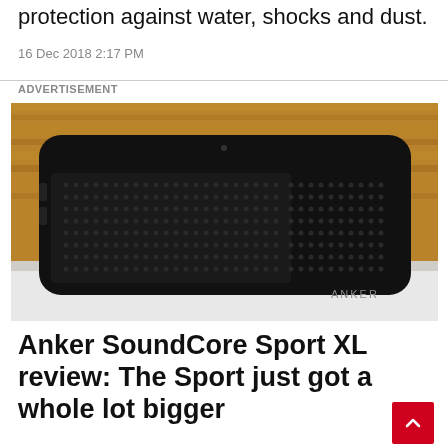protection against water, shocks and dust.
16 Dec 2018 2:17 PM
ADVERTISEMENT
[Figure (photo): Anker SoundCore Sport XL bluetooth speaker, black rectangular device with mesh grille, photographed against a wooden background on a white surface. ANKER logo visible on the front.]
Anker SoundCore Sport XL review: The Sport just got a whole lot bigger